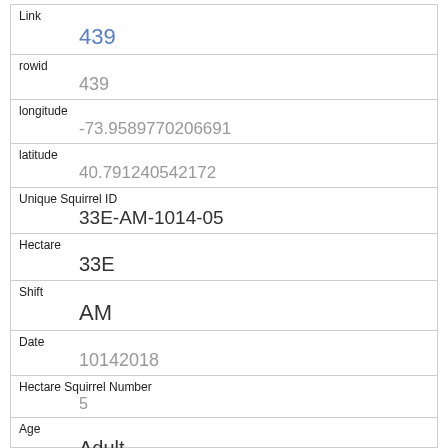| Field | Value |
| --- | --- |
| Link | 439 |
| rowid | 439 |
| longitude | -73.9589770206691 |
| latitude | 40.791240542172 |
| Unique Squirrel ID | 33E-AM-1014-05 |
| Hectare | 33E |
| Shift | AM |
| Date | 10142018 |
| Hectare Squirrel Number | 5 |
| Age | Adult |